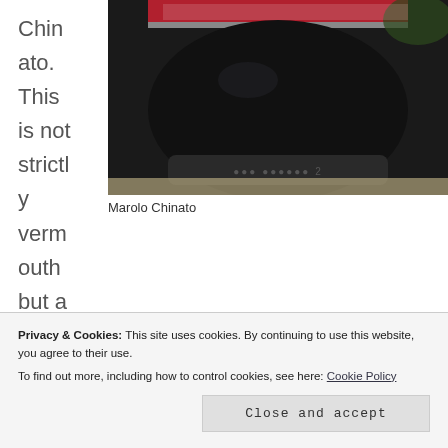[Figure (photo): Close-up photo of the bottom of a dark bottle of Marolo Chinato, showing the thick dark liquid inside and embossed glass at the base.]
Marolo Chinato
Chinato. This is not strictly vermouth but a product with very similar characteristics and so I thought I'd try it out in some classic red vermouth
Privacy & Cookies: This site uses cookies. By continuing to use this website, you agree to their use.
To find out more, including how to control cookies, see here: Cookie Policy
Close and accept